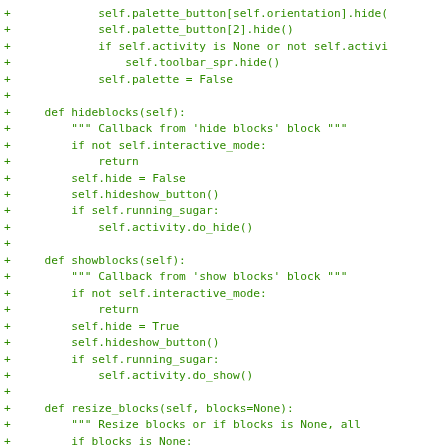[Figure (screenshot): Code diff snippet showing Python methods hideblocks, showblocks, and resize_blocks with green + markers on a white background.]